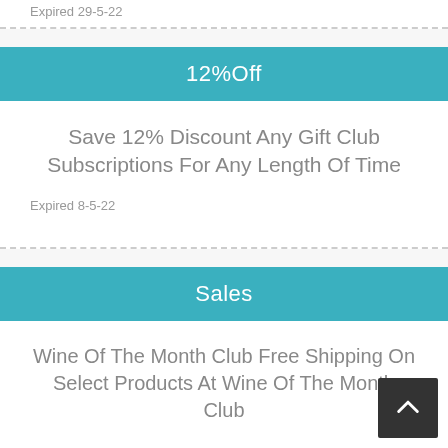Expired 29-3-22
12%Off
Save 12% Discount Any Gift Club Subscriptions For Any Length Of Time
Expired 8-5-22
Sales
Wine Of The Month Club Free Shipping On Select Products At Wine Of The Month Club